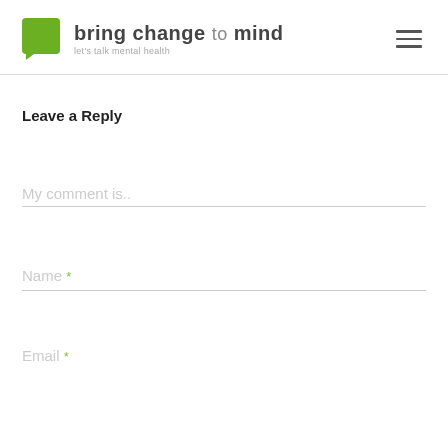bring change to mind — let's talk mental health
Leave a Reply
My comment is..
Name *
Email *